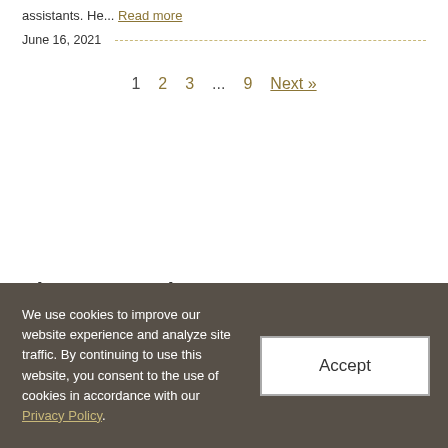assistants. He... Read more
June 16, 2021
1  2  3  ...  9  Next »
Sign Up For Alerts
We use cookies to improve our website experience and analyze site traffic. By continuing to use this website, you consent to the use of cookies in accordance with our Privacy Policy.